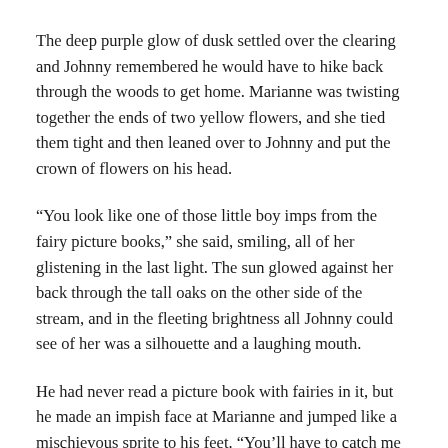The deep purple glow of dusk settled over the clearing and Johnny remembered he would have to hike back through the woods to get home. Marianne was twisting together the ends of two yellow flowers, and she tied them tight and then leaned over to Johnny and put the crown of flowers on his head.
“You look like one of those little boy imps from the fairy picture books,” she said, smiling, all of her glistening in the last light. The sun glowed against her back through the tall oaks on the other side of the stream, and in the fleeting brightness all Johnny could see of her was a silhouette and a laughing mouth.
He had never read a picture book with fairies in it, but he made an impish face at Marianne and jumped like a mischievous sprite to his feet. “You’ll have to catch me if you want it back.”
She was after him in a moment, and both of them, barefoot, barely left the imprint of their feet on the thick, soft grass. Johnny knew he wasn’t running back towards home, but where his inner compass told him the estate house was. He didn’t want Marianne